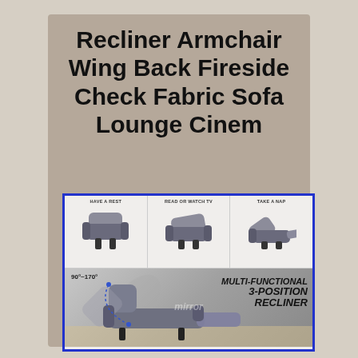Recliner Armchair Wing Back Fireside Check Fabric Sofa Lounge Cinem
[Figure (photo): Product image showing a checkered fabric recliner armchair in three positions (Have a Rest, Read or Watch TV, Take a Nap) in top row, and a large bottom image showing the chair reclining from 90 to 170 degrees with text 'MULTI-FUNCTIONAL 3-POSITION RECLINER']